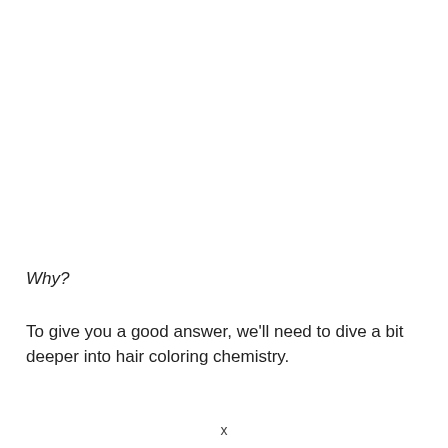Why?
To give you a good answer, we'll need to dive a bit deeper into hair coloring chemistry.
x